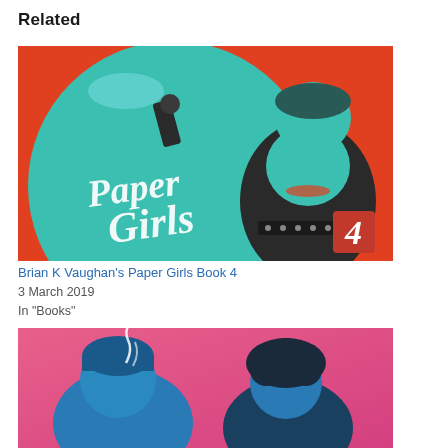Related
[Figure (illustration): Comic book cover for Paper Girls Book 4 by Brian K Vaughan. Teal-colored stylized illustration of girls holding guns on an orange-red background, with 'Paper Girls 4' in white hand-lettered text.]
Brian K Vaughan's Paper Girls Book 4
3 March 2019
In "Books"
[Figure (illustration): Comic book cover showing two teal/blue-colored stylized figures against a pink/magenta background. One figure is wearing a blue beanie and appears to be smoking.]